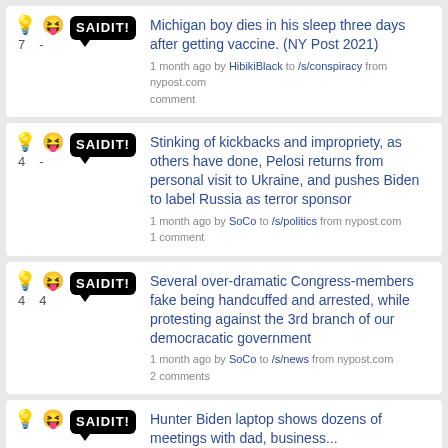Michigan boy dies in his sleep three days after getting vaccine. (NY Post 2021) — 1 month ago by HibikiBlack to /s/conspiracy from nypost.com comment
Stinking of kickbacks and impropriety, as others have done, Pelosi returns from personal visit to Ukraine, and pushes Biden to label Russia as terror sponsor — 1 month ago by SoCo to /s/politics from nypost.com 1 comment
Several over-dramatic Congress-members fake being handcuffed and arrested, while protesting against the 3rd branch of our democracatic government — 1 month ago by SoCo to /s/news from nypost.com 2 comments
Hunter Biden laptop shows dozens of meetings with dad, business...